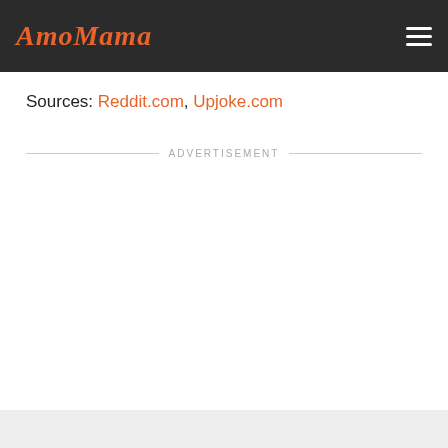AmoMama
Sources: Reddit.com, Upjoke.com
ADVERTISEMENT